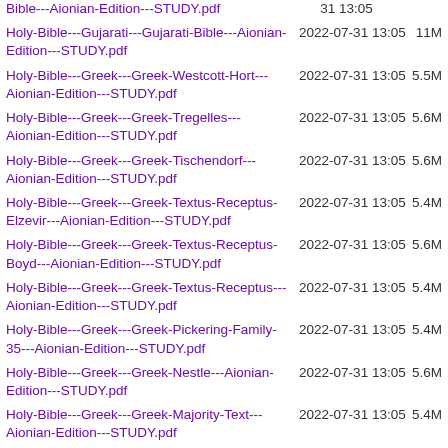| Name | Date | Size |
| --- | --- | --- |
| Bible---Aionian-Edition---STUDY.pdf (partial) | 31 13:05 |  |
| Holy-Bible---Gujarati---Gujarati-Bible---Aionian-Edition---STUDY.pdf | 2022-07-31 13:05 | 11M |
| Holy-Bible---Greek---Greek-Westcott-Hort---Aionian-Edition---STUDY.pdf | 2022-07-31 13:05 | 5.5M |
| Holy-Bible---Greek---Greek-Tregelles---Aionian-Edition---STUDY.pdf | 2022-07-31 13:05 | 5.6M |
| Holy-Bible---Greek---Greek-Tischendorf---Aionian-Edition---STUDY.pdf | 2022-07-31 13:05 | 5.6M |
| Holy-Bible---Greek---Greek-Textus-Receptus-Elzevir---Aionian-Edition---STUDY.pdf | 2022-07-31 13:05 | 5.4M |
| Holy-Bible---Greek---Greek-Textus-Receptus-Boyd---Aionian-Edition---STUDY.pdf | 2022-07-31 13:05 | 5.6M |
| Holy-Bible---Greek---Greek-Textus-Receptus---Aionian-Edition---STUDY.pdf | 2022-07-31 13:05 | 5.4M |
| Holy-Bible---Greek---Greek-Pickering-Family-35---Aionian-Edition---STUDY.pdf | 2022-07-31 13:05 | 5.4M |
| Holy-Bible---Greek---Greek-Nestle---Aionian-Edition---STUDY.pdf | 2022-07-31 13:05 | 5.6M |
| Holy-Bible---Greek---Greek-Majority-Text---Aionian-Edition---STUDY.pdf | 2022-07-31 13:05 | 5.4M |
| Holy-Bible---Greek---Greek-MMW... (partial) | 2022-07-31 13:05 |  |